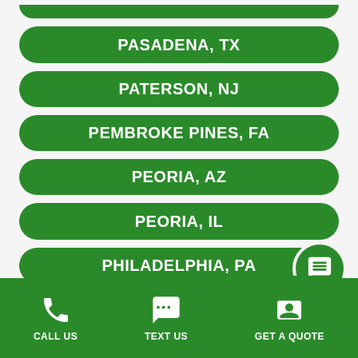PASADENA, TX
PATERSON, NJ
PEMBROKE PINES, FA
PEORIA, AZ
PEORIA, IL
PHILADELPHIA, PA
CALL US   TEXT US   GET A QUOTE